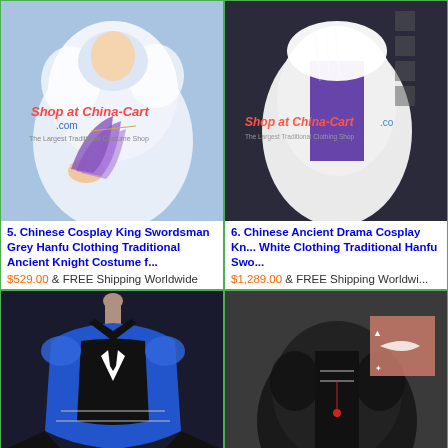[Figure (photo): Chinese Cosplay King Swordsman Grey Hanfu costume photo with Shop at China-Cart.com watermark, person in white fur coat holding purple fan]
5. Chinese Cosplay King Swordsman Grey Hanfu Clothing Traditional Ancient Knight Costume f...
$529.00 & FREE Shipping Worldwide
[Figure (photo): Chinese Ancient Drama Cosplay Kn... White Clothing Traditional Hanfu Swo... costume photo with Shop at China-Cart.com watermark]
6. Chinese Ancient Drama Cosplay Kn... White Clothing Traditional Hanfu Swo...
$1,289.00 & FREE Shipping Worldwi...
[Figure (photo): Blue and black cosplay armor costume on mannequin]
[Figure (photo): Dark black cosplay costume with fur trim and accessories]